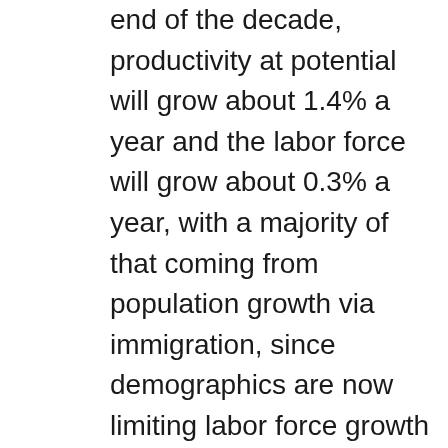end of the decade, productivity at potential will grow about 1.4% a year and the labor force will grow about 0.3% a year, with a majority of that coming from population growth via immigration, since demographics are now limiting labor force growth from current population dynamics. Put those together and you get 1.7% potential real GDP growth. The CBO estimate is higher for the next couple of years at 2.1% due to post-recession adjustments.